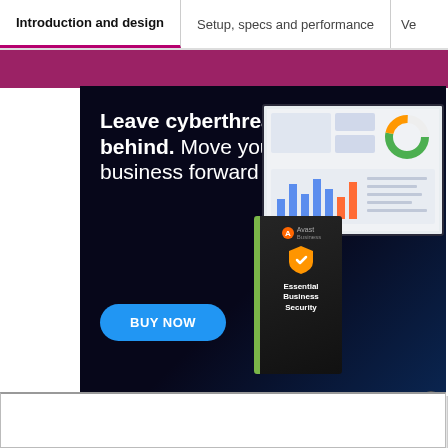Introduction and design | Setup, specs and performance | Ve...
[Figure (screenshot): A website navigation tab bar showing tabs: 'Introduction and design' (active, bold), 'Setup, specs and performance', and 'Ve...' (partially visible). Below is a magenta/purple horizontal bar. An advertisement banner for Avast Business Essential Business Security is shown: dark background with text 'Leave cyberthreats behind. Move your business forward', a blue 'BUY NOW' button, and an image of a product box and computer monitor showing a dashboard. Below the ad is a gray area. A close button (circle with X) appears in the lower right. A white popup bar appears at the very bottom.]
Leave cyberthreats behind. Move your business forward
BUY NOW
Essential Business Security